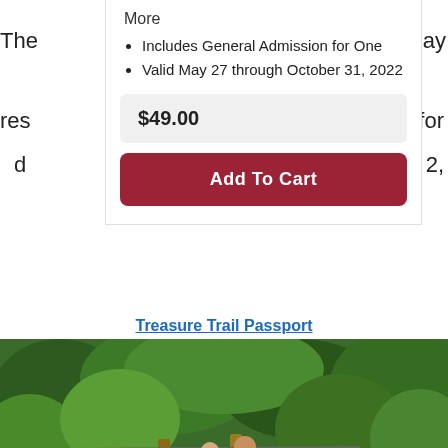The ... May
res ... for d ... 2,
More
Includes General Admission for One
Valid May 27 through October 31, 2022
$49.00
Add To Cart
Treasure Trail Passport
[Figure (photo): Family with children on a wooden bridge/platform in a lush green garden setting, surrounded by trees and flowers]
Family: Brandywine Treasure Trail Passport